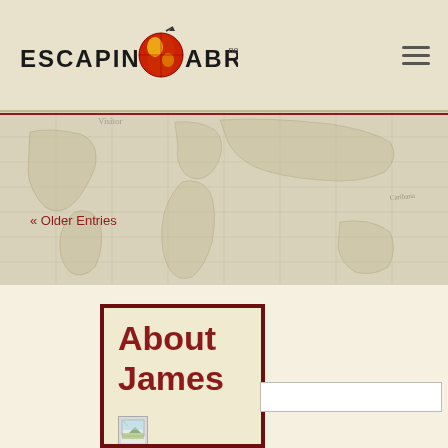Escaping Abroad
[Figure (map): Antique world map background banner with faded sepia-toned continent outlines]
« Older Entries
About James
[Figure (photo): Small broken/placeholder image icon]
I quit my boring office job